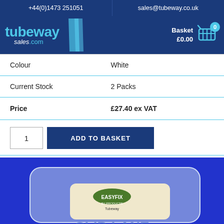+44(0)1473 251051 | sales@tubeway.co.uk
[Figure (logo): Tubeway Sales .com logo in blue and cyan with diagonal slash graphic]
| Attribute | Value |
| --- | --- |
| Colour | White |
| Current Stock | 2 Packs |
| Price | £27.40 ex VAT |
[Figure (other): Product photo: EasyFix by Tubeway product pack on blue background]
1  ADD TO BASKET